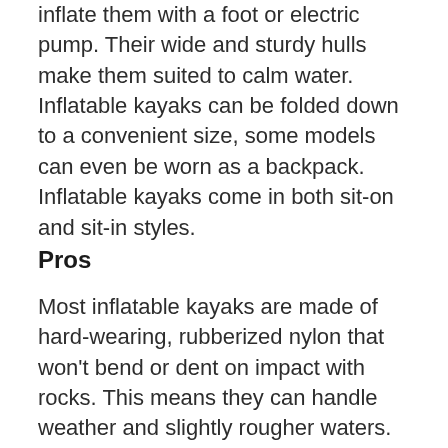inflate them with a foot or electric pump. Their wide and sturdy hulls make them suited to calm water. Inflatable kayaks can be folded down to a convenient size, some models can even be worn as a backpack. Inflatable kayaks come in both sit-on and sit-in styles.
Pros
Most inflatable kayaks are made of hard-wearing, rubberized nylon that won't bend or dent on impact with rocks. This means they can handle weather and slightly rougher waters. They are stable and easy to maneuver, making them a great first craft for children or beginners. Some high end